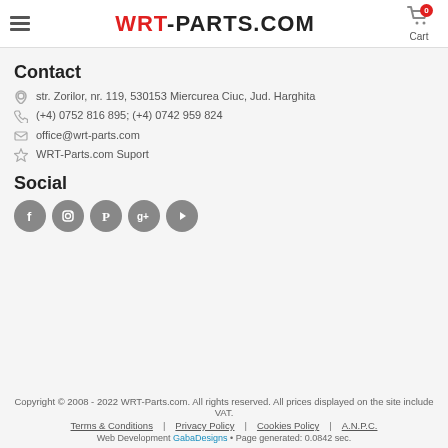WRT-PARTS.COM
Contact
str. Zorilor, nr. 119, 530153 Miercurea Ciuc, Jud. Harghita
(+4) 0752 816 895; (+4) 0742 959 824
office@wrt-parts.com
WRT-Parts.com Suport
Social
[Figure (infographic): Social media icons: Facebook, Instagram, Pinterest, Google+, YouTube]
Copyright © 2008 - 2022 WRT-Parts.com. All rights reserved. All prices displayed on the site include VAT.
Terms & Conditions | Privacy Policy | Cookies Policy | A.N.P.C.
Web Development GabaDesigns • Page generated: 0.0842 sec.